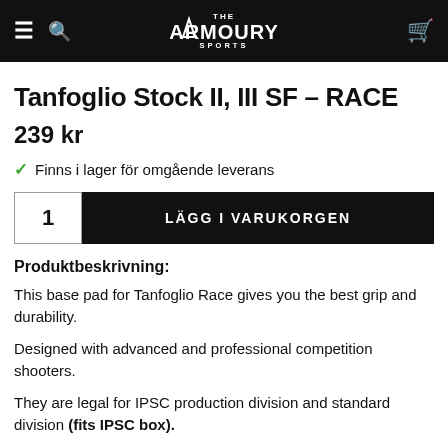THE ARMOURY SPORTS
Tanfoglio Stock II, III SF – RACE
239 kr
✓ Finns i lager för omgående leverans
1  LÄGG I VARUKORGEN
Produktbeskrivning:
This base pad for Tanfoglio Race gives you the best grip and durability.
Designed with advanced and professional competition shooters.
They are legal for IPSC production division and standard division (fits IPSC box).